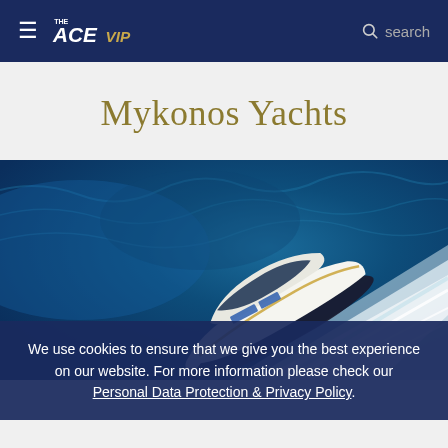THE ACE VIP — Navigation header with hamburger menu, logo, and search
Mykonos Yachts
[Figure (photo): Aerial view of a white luxury motor yacht cutting through deep blue water, creating white wake, photographed from above at an angle.]
We use cookies to ensure that we give you the best experience on our website. For more information please check our Personal Data Protection & Privacy Policy.